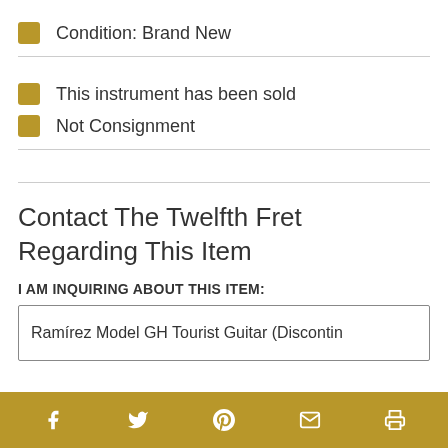Condition: Brand New
This instrument has been sold
Not Consignment
Contact The Twelfth Fret Regarding This Item
I AM INQUIRING ABOUT THIS ITEM:
Ramírez Model GH Tourist Guitar (Discontin…